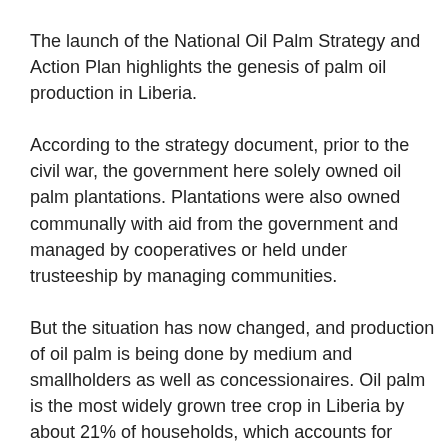The launch of the National Oil Palm Strategy and Action Plan highlights the genesis of palm oil production in Liberia.
According to the strategy document, prior to the civil war, the government here solely owned oil palm plantations. Plantations were also owned communally with aid from the government and managed by cooperatives or held under trusteeship by managing communities.
But the situation has now changed, and production of oil palm is being done by medium and smallholders as well as concessionaires. Oil palm is the most widely grown tree crop in Liberia by about 21% of households, which accounts for approximately one-tenth of employment in the agricultural sector.
The NOPSAP aims to guide public and private institutions,